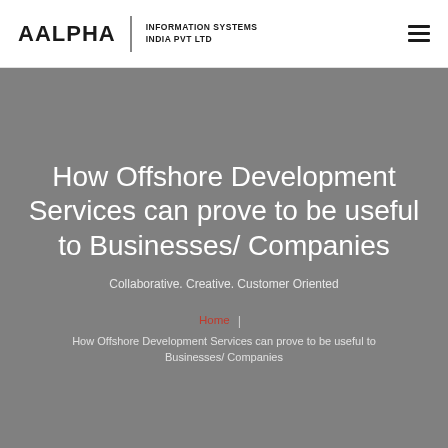AALPHA | INFORMATION SYSTEMS INDIA PVT LTD
How Offshore Development Services can prove to be useful to Businesses/ Companies
Collaborative. Creative. Customer Oriented
Home | How Offshore Development Services can prove to be useful to Businesses/ Companies